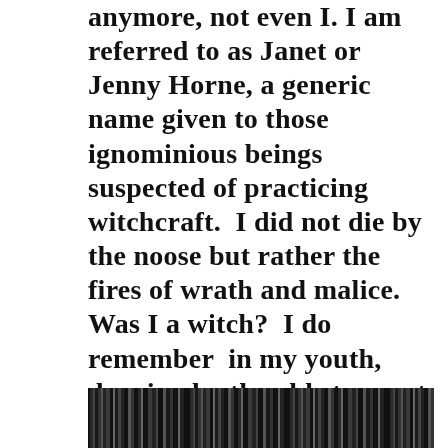anymore, not even I. I am referred to as Janet or Jenny Horne, a generic name given to those ignominious beings suspected of practicing witchcraft. I did not die by the noose but rather the fires of wrath and malice. Was I a witch? I do remember in my youth, dancing by the old stones at Glen Loth on the solstice. Some of us didn't forget the old ways or the fairy folk and each year everyone celebrated the fires of Beltane*(Là Bealltainn) on top of the hill, welcoming summer with song and wild dancing!
[Figure (photo): Black and white photo showing dark vertical streaks, partially visible at the bottom of the page]